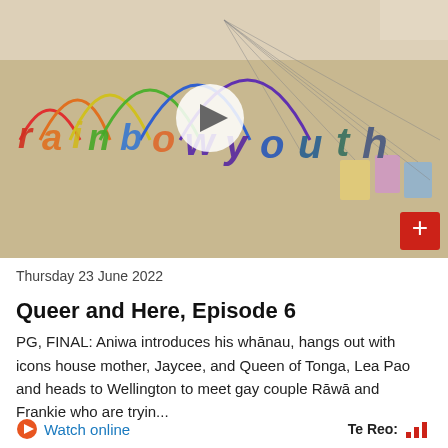[Figure (photo): Photo of a wall with 'rainbow youth' written in colourful yarn/string letters. A play button (white circle with triangle) is overlaid in the centre. A red plus button is in the bottom-right corner of the image.]
Thursday 23 June 2022
Queer and Here, Episode 6
PG, FINAL: Aniwa introduces his whānau, hangs out with icons house mother, Jaycee, and Queen of Tonga, Lea Pao and heads to Wellington to meet gay couple Rāwā and Frankie who are tryin...
Watch online
Te Reo: